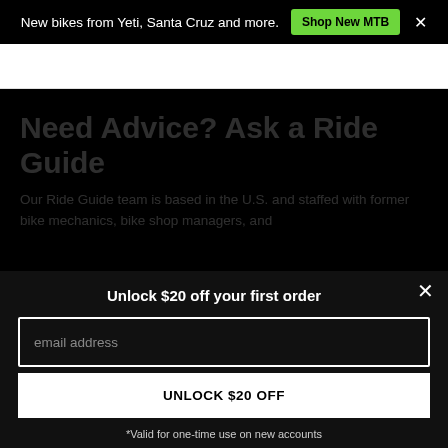New bikes from Yeti, Santa Cruz and more.  Shop New MTB  ×
Need Advice? Ask a Ride Guide
Our Ride Guide team is based in the U.S. and staffed with former bike mechanics, bike shop managers, and
Unlock $20 off your first order
email address
UNLOCK $20 OFF
*Valid for one-time use on new accounts